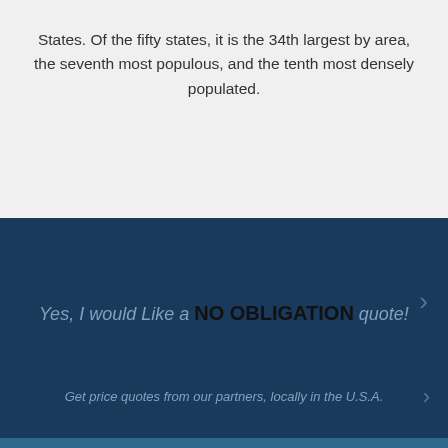States. Of the fifty states, it is the 34th largest by area, the seventh most populous, and the tenth most densely populated.
Yes, I would Like a NO OBLIGATION quote!
Get price quotes from our partners, locally in the U.S.A.
FROM THE BLOG
STILL [CO...] LEASE | SHOULD I UPGRADE NOW?
[Figure (screenshot): Chat bubble overlay with 'How can we help you?' message and avatar with notification badge showing 1]
How can we help you?